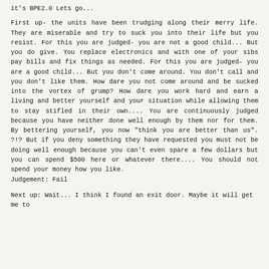it's BPE2.0 Lets go...
First up- the units have been trudging along their merry life. They are miserable and try to suck you into their life but you resist. For this you are judged- you are not a good child... But you do give. You replace electronics and with one of your sibs pay bills and fix things as needed. For this you are judged- you are a good child... But you don't come around. You don't call and you don't like them. How dare you not come around and be sucked into the vortex of grump? How dare you work hard and earn a living and better yourself and your situation while allowing them to stay stifled in their own.... You are continuously judged because you have neither done well enough by them nor for them. By bettering yourself, you now "think you are better than us". ?!? But if you deny something they have requested you must not be doing well enough because you can't even spare a few dollars but you can spend $500 here or whatever there.... You should not spend your money how you like. Judgement: Fail
Next up: Wait... I think I found an exit door. Maybe it will get me to